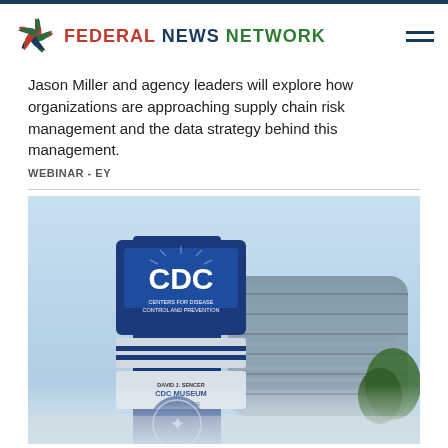FEDERAL NEWS NETWORK
Jason Miller and agency leaders will explore how organizations are approaching supply chain risk management and the data strategy behind this management.
WEBINAR - EY
[Figure (photo): CDC headquarters building sign with blue pillar showing CDC Museum logo and HHS emblem, large curved office building in background, clear blue sky]